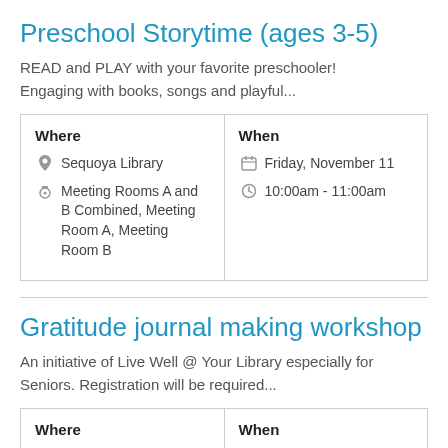Preschool Storytime (ages 3-5)
READ and PLAY with your favorite preschooler! Engaging with books, songs and playful...
| Where | When |
| --- | --- |
| 🏛 Sequoya Library
📍 Meeting Rooms A and B Combined, Meeting Room A, Meeting Room B | 📅 Friday, November 11
🕐 10:00am - 11:00am |
Gratitude journal making workshop
An initiative of Live Well @ Your Library especially for Seniors. Registration will be required...
| Where | When |
| --- | --- |
| Sequoya Library | Friday, November 11 |